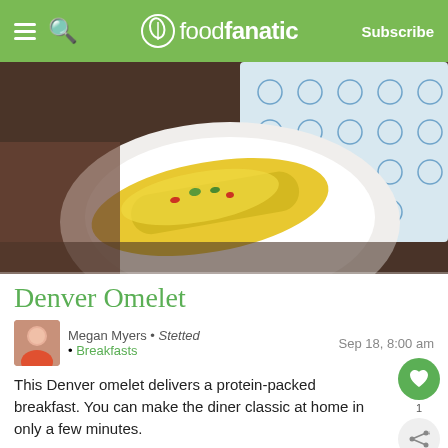foodfanatic — Subscribe
[Figure (photo): Close-up photo of a Denver omelet on a white plate with blue patterned napkin on a dark wooden table]
Denver Omelet
Megan Myers • Stetted • Breakfasts   Sep 18, 8:00 am
This Denver omelet delivers a protein-packed breakfast. You can make the diner classic at home in only a few minutes.
[Figure (photo): Dark overhead photo of a bowl of food with a fork, blurred background, with a 'What's Next: Sorullitos' overlay thumbnail]
WHAT'S NEXT → Sorullitos
[Figure (infographic): Ad banner with rainbow colored stripes and text 'We stand with you.']